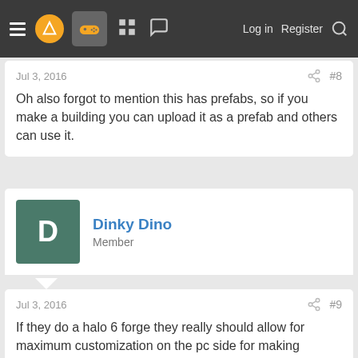≡  [logo]  [gamepad]  [grid]  [chat]   Log in  Register  [search]
Jul 3, 2016  [share] #8
Oh also forgot to mention this has prefabs, so if you make a building you can upload it as a prefab and others can use it.
Dinky Dino
Member
Jul 3, 2016  [share] #9
If they do a halo 6 forge they really should allow for maximum customization on the pc side for making shared content.

Isn't forge on the xbox limited to moving stuff around/changing basic presets where you can't import customs assets/implement gameplay changing mechanics like movement speed and new weapons and such?